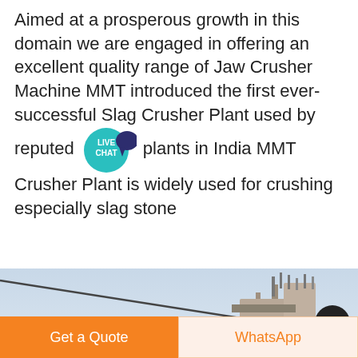Aimed at a prosperous growth in this domain we are engaged in offering an excellent quality range of Jaw Crusher Machine MMT introduced the first ever-successful Slag Crusher Plant used by reputed plants in India MMT Crusher Plant is widely used for crushing especially slag stone
[Figure (infographic): Orange rounded 'Get price' button]
[Figure (photo): Photo of industrial crusher/conveyor machinery against a hazy sky, with a scroll-to-top circular button overlay]
[Figure (infographic): Bottom action bar with 'Get a Quote' orange button on left and 'WhatsApp' button on right]